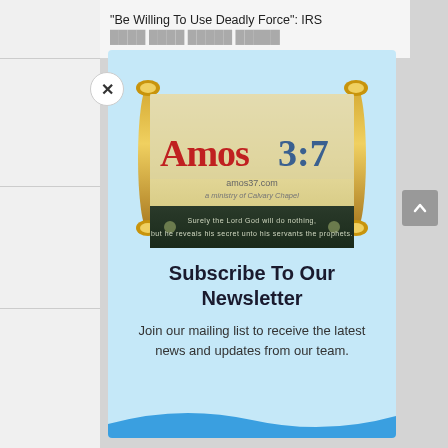“Be Willing To Use Deadly Force”: IRS
[Figure (logo): Amos 3:7 website logo showing a scroll with the text 'Amos 3:7' and the biblical quote 'Surely the Lord God will do nothing, but he reveals his secret unto his servants the prophets']
Subscribe To Our Newsletter
Join our mailing list to receive the latest news and updates from our team.